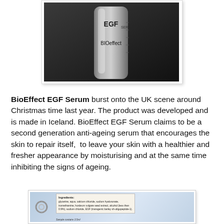[Figure (photo): Photo of a small glass bottle/vial labeled 'EGF SER' and 'BIOeffect' against a dark background]
BioEffect EGF Serum burst onto the UK scene around Christmas time last year. The product was developed and is made in Iceland. BioEffect EGF Serum claims to be a second generation anti-ageing serum that encourages the skin to repair itself,  to leave your skin with a healthier and fresher appearance by moisturising and at the same time inhibiting the signs of ageing.
[Figure (photo): Photo of a product tag/label showing ingredients list and 'Sample contains 3.5ml' text, with a metal ring on the left side]